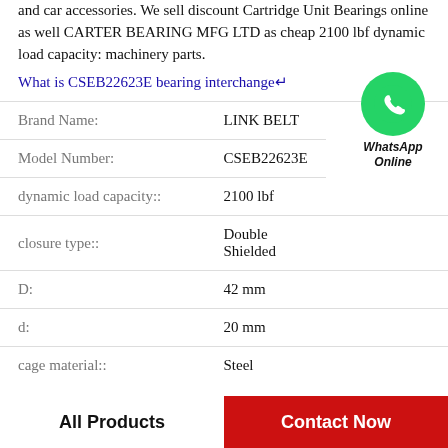and car accessories. We sell discount Cartridge Unit Bearings online as well CARTER BEARING MFG LTD as cheap 2100 lbf dynamic load capacity: machinery parts.
What is CSEB22623E bearing interchange↵
| Property | Value |
| --- | --- |
| Brand Name: | LINK BELT |
| Model Number: | CSEB22623E |
| dynamic load capacity:: | 2100 lbf |
| closure type:: | Double Shielded |
| D: | 42 mm |
| d: | 20 mm |
| cage material:: | Steel |
[Figure (illustration): WhatsApp Online contact widget with green phone icon circle and label 'WhatsApp Online']
All Products
Contact Now